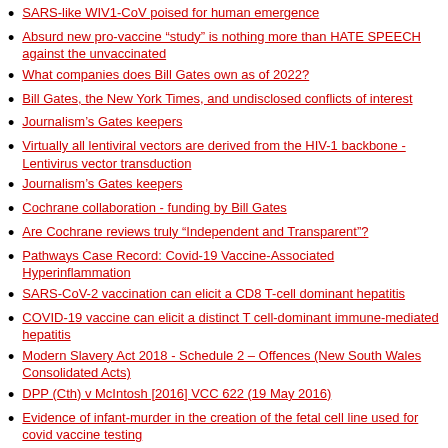SARS-like WIV1-CoV poised for human emergence
Absurd new pro-vaccine “study” is nothing more than HATE SPEECH against the unvaccinated
What companies does Bill Gates own as of 2022?
Bill Gates, the New York Times, and undisclosed conflicts of interest
Journalism’s Gates keepers
Virtually all lentiviral vectors are derived from the HIV-1 backbone - Lentivirus vector transduction
Journalism’s Gates keepers
Cochrane collaboration - funding by Bill Gates
Are Cochrane reviews truly “Independent and Transparent”?
Pathways Case Record: Covid-19 Vaccine-Associated Hyperinflammation
SARS-CoV-2 vaccination can elicit a CD8 T-cell dominant hepatitis
COVID-19 vaccine can elicit a distinct T cell-dominant immune-mediated hepatitis
Modern Slavery Act 2018 - Schedule 2 – Offences (New South Wales Consolidated Acts)
DPP (Cth) v McIntosh [2016] VCC 622 (19 May 2016)
Evidence of infant-murder in the creation of the fetal cell line used for covid vaccine testing
Tragedy as girl, 10, dies on school trip to London leisure centre